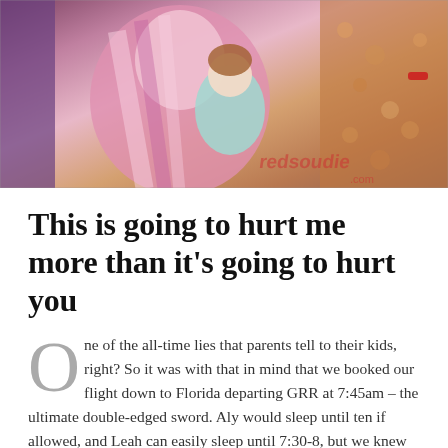[Figure (photo): Photo of a child being hugged by a Disney princess character in a pink and gold dress. Another colorful costume is visible in the background. A watermark reading 'redsoudie.com' is visible in the lower right.]
This is going to hurt me more than it’s going to hurt you
One of the all-time lies that parents tell to their kids, right? So it was with that in mind that we booked our flight down to Florida departing GRR at 7:45am – the ultimate double-edged sword. Aly would sleep until ten if allowed, and Leah can easily sleep until 7:30-8, but we knew we’d have to leave for the airport around 5:45am, meaning wakeup time would be around 5am. On the other hand, wheels-down time in Orlando is 10:30am, meaning we hit the resort by noon and get nearly a whole day at the Polynesian or one of the parks. So we booked the flight, mostly